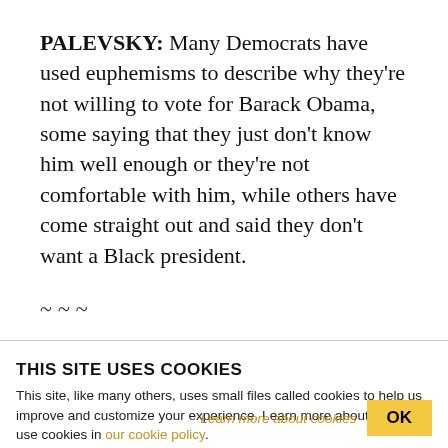PALEVSKY: Many Democrats have used euphemisms to describe why they're not willing to vote for Barack Obama, some saying that they just don't know him well enough or they're not comfortable with him, while others have come straight out and said they don't want a Black president.
~~~
THIS SITE USES COOKIES
This site, like many others, uses small files called cookies to help us improve and customize your experience. Learn more about how we use cookies in our cookie policy.
Learn more about cookies   OK